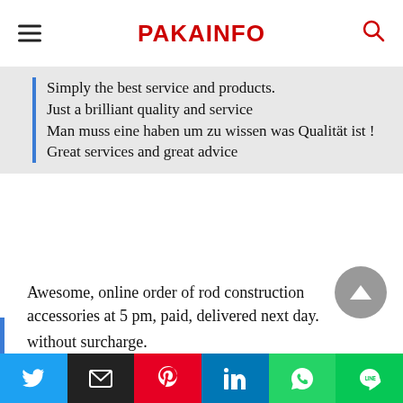PAKAINFO
Simply the best service and products.
Just a brilliant quality and service
Man muss eine haben um zu wissen was Qualität ist !
Great services and great advice
Awesome, online order of rod construction accessories at 5 pm, paid, delivered next day.
without surcharge.
great to be a customer. Great spin system 3.
the selection anyway.
[Figure (other): Scroll-to-top circular button with upward triangle arrow]
[Figure (other): Social share bar with Twitter, Email, Pinterest, LinkedIn, WhatsApp, and Line buttons]